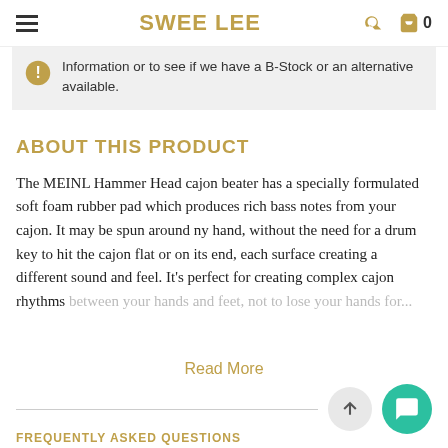SWEE LEE
Information or to see if we have a B-Stock or an alternative available.
ABOUT THIS PRODUCT
The MEINL Hammer Head cajon beater has a specially formulated soft foam rubber pad which produces rich bass notes from your cajon. It may be spun around ny hand, without the need for a drum key to hit the cajon flat or on its end, each surface creating a different sound and feel. It's perfect for creating complex cajon rhythms between your hands and feet, not to lose your hands for...
Read More
FREQUENTLY ASKED QUESTIONS